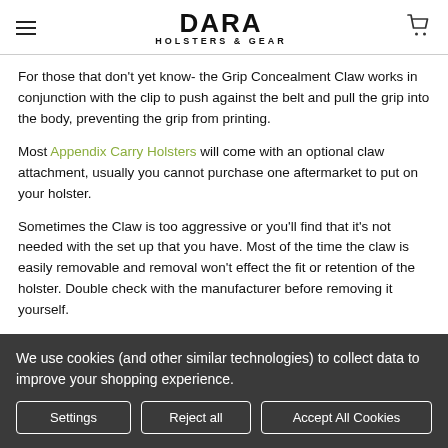DARA HOLSTERS & GEAR
For those that don't yet know- the Grip Concealment Claw works in conjunction with the clip to push against the belt and pull the grip into the body, preventing the grip from printing.
Most Appendix Carry Holsters will come with an optional claw attachment, usually you cannot purchase one aftermarket to put on your holster.
Sometimes the Claw is too aggressive or you'll find that it's not needed with the set up that you have. Most of the time the claw is easily removable and removal won't effect the fit or retention of the holster. Double check with the manufacturer before removing it yourself.
If you are having trouble printing, try shifting the holster around a bit. You
We use cookies (and other similar technologies) to collect data to improve your shopping experience.
Settings  Reject all  Accept All Cookies